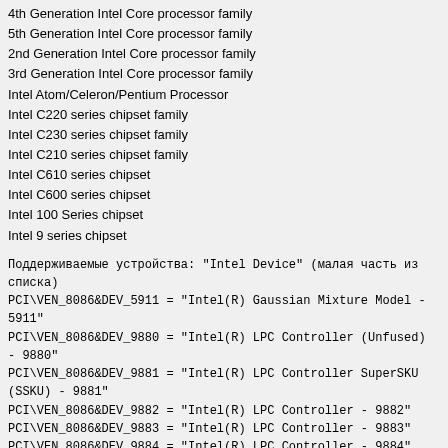4th Generation Intel Core processor family
5th Generation Intel Core processor family
2nd Generation Intel Core processor family
3rd Generation Intel Core processor family
Intel Atom/Celeron/Pentium Processor
Intel C220 series chipset family
Intel C230 series chipset family
Intel C210 series chipset family
Intel C610 series chipset
Intel C600 series chipset
Intel 100 Series chipset
Intel 9 series chipset
Поддерживаемые устройства: "Intel Device" (малая часть из списка)
PCI\VEN_8086&DEV_5911 = "Intel(R) Gaussian Mixture Model - 5911"
PCI\VEN_8086&DEV_9880 = "Intel(R) LPC Controller (Unfused) - 9880"
PCI\VEN_8086&DEV_9881 = "Intel(R) LPC Controller SuperSKU (SSKU) - 9881"
PCI\VEN_8086&DEV_9882 = "Intel(R) LPC Controller - 9882"
PCI\VEN_8086&DEV_9883 = "Intel(R) LPC Controller - 9883"
PCI\VEN_8086&DEV_9884 = "Intel(R) LPC Controller - 9884"
PCI\VEN_8086&DEV_9885 = "Intel(R) LPC Controller - 9885"
PCI\VEN_8086&DEV_9886 = "Intel(R) LPC Controller - 9886"
PCI\VEN_8086&DEV_9887 = "Intel(R) LPC Controller - 9887"
PCI\VEN_8086&DEV_9888 = "Intel(R) LPC Controller - 9888"
PCI\VEN_8086&DEV_9889 = "Intel(R) LPC Controller - 9889"
PCI\VEN_8086&DEV_988A = "Intel(R) LPC Controller - 988A"
PCI\VEN_8086&DEV_988B = "Intel(R) LPC Controller - 988B"
PCI\VEN_8086&DEV_988C = "Intel(R) LPC Controller - 988C"
PCI\VEN_8086&DEV_988D = "Intel(R) LPC Controller - 988D"
PCI\VEN_8086&DEV_988E = "Intel(R) LPC Controller - 988E"